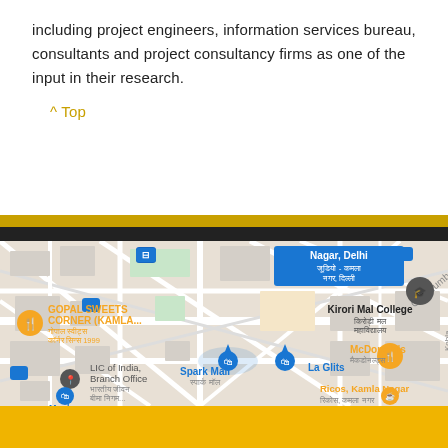including project engineers, information services bureau, consultants and project consultancy firms as one of the input in their research.
^ Top
[Figure (map): Google Maps screenshot showing Kamla Nagar area, Delhi. Visible landmarks include Kirori Mal College, Gopal Sweets Corner (Kamla...), Spark Mall, La Glits, McDonald's, LIC of India Branch Office, Manhar, Ricos Kamla Nagar, and Gali Number 7. Map pins and transit icons are visible.]